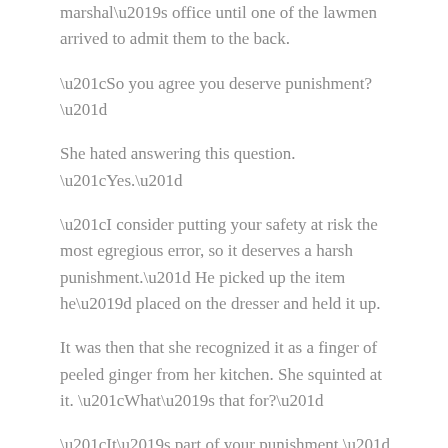marshal’s office until one of the lawmen arrived to admit them to the back.
“So you agree you deserve punishment?”
She hated answering this question. “Yes.”
“I consider putting your safety at risk the most egregious error, so it deserves a harsh punishment.” He picked up the item he’d placed on the dresser and held it up.
It was then that she recognized it as a finger of peeled ginger from her kitchen. She squinted at it. “What’s that for?”
“It’s part of your punishment,” Ben said. “I will place this up your lovely bottom hole. It will burn something fierce, but it won’t harm you.”